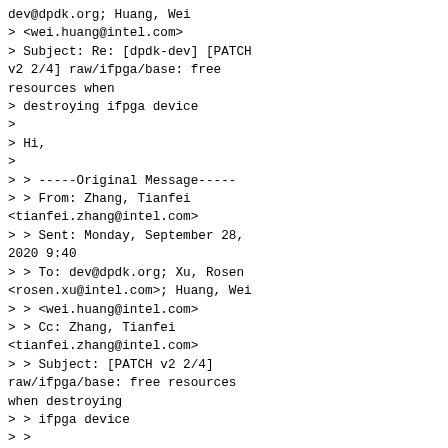dev@dpdk.org; Huang, Wei
> <wei.huang@intel.com>
> Subject: Re: [dpdk-dev] [PATCH v2 2/4] raw/ifpga/base: free resources when
> destroying ifpga device
>
> Hi,
>
> > -----Original Message-----
> > From: Zhang, Tianfei <tianfei.zhang@intel.com>
> > Sent: Monday, September 28, 2020 9:40
> > To: dev@dpdk.org; Xu, Rosen <rosen.xu@intel.com>; Huang, Wei
> > <wei.huang@intel.com>
> > Cc: Zhang, Tianfei <tianfei.zhang@intel.com>
> > Subject: [PATCH v2 2/4] raw/ifpga/base: free resources when destroying
> > ifpga device
> >
> > From: Wei Huang <wei.huang@intel.com>
> >
> > Add two functions to complete the resources free work, one is
> > ifpga_adapter_destroy(), the